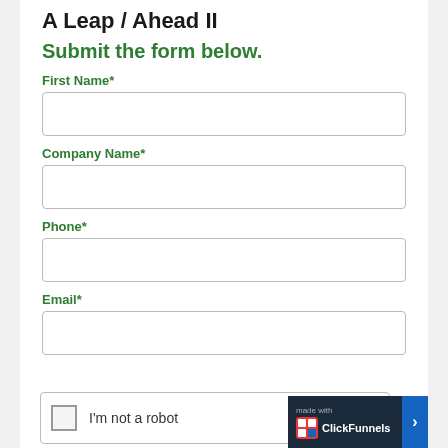A Leap / Ahead II
Submit the form below.
First Name*
Company Name*
Phone*
Email*
I'm not a robot
[Figure (logo): ClickFunnels badge with 'made with ClickFunnels' text and blue arrow button]